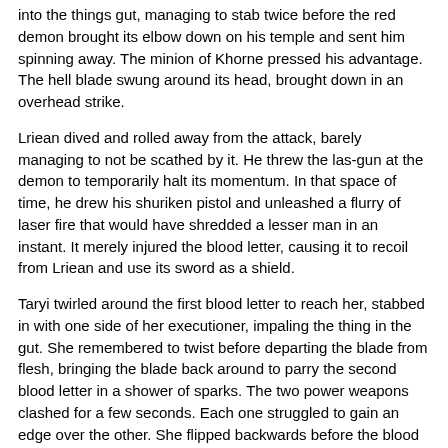into the things gut, managing to stab twice before the red demon brought its elbow down on his temple and sent him spinning away. The minion of Khorne pressed his advantage. The hell blade swung around its head, brought down in an overhead strike.
Lriean dived and rolled away from the attack, barely managing to not be scathed by it. He threw the las-gun at the demon to temporarily halt its momentum. In that space of time, he drew his shuriken pistol and unleashed a flurry of laser fire that would have shredded a lesser man in an instant. It merely injured the blood letter, causing it to recoil from Lriean and use its sword as a shield.
Taryi twirled around the first blood letter to reach her, stabbed in with one side of her executioner, impaling the thing in the gut. She remembered to twist before departing the blade from flesh, bringing the blade back around to parry the second blood letter in a shower of sparks. The two power weapons clashed for a few seconds. Each one struggled to gain an edge over the other. She flipped backwards before the blood letter could bring his blade back for another strike, cleaving the first she had engaged in two with an effortless strike.
With a howl of rage, the first member of the hellish pack departed. It gently melted into a fine mist and fell back into the realm of nightmares. The second seemed undeterred, instead pumped its blade into the air and roared triumphantly over the screams of its dying comrade. It called to the shadows in a diabolic tongue.